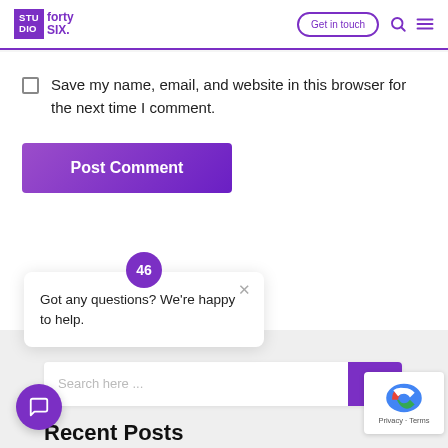STUDIO fortySIX. | Get in touch
Save my name, email, and website in this browser for the next time I comment.
Post Comment
46
Got any questions? We're happy to help.
Search here ...
Recent Posts